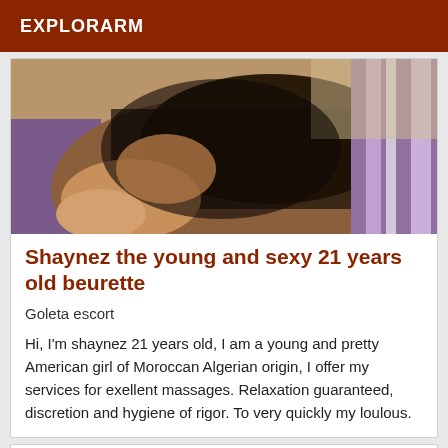EXPLORARM
[Figure (photo): Close-up photo of a person's legs and lower body]
Shaynez the young and sexy 21 years old beurette
Goleta escort
Hi, I'm shaynez 21 years old, I am a young and pretty American girl of Moroccan Algerian origin, I offer my services for exellent massages. Relaxation guaranteed, discretion and hygiene of rigor. To very quickly my loulous.